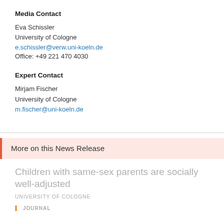Media Contact
Eva Schissler
University of Cologne
e.schissler@verw.uni-koeln.de
Office: +49 221 470 4030
Expert Contact
Mirjam Fischer
University of Cologne
m.fischer@uni-koeln.de
More on this News Release
Children with same-sex parents are socially well-adjusted
UNIVERSITY OF COLOGNE
JOURNAL